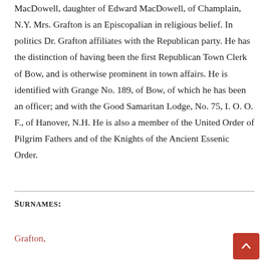MacDowell, daughter of Edward MacDowell, of Champlain, N.Y. Mrs. Grafton is an Episcopalian in religious belief. In politics Dr. Grafton affiliates with the Republican party. He has the distinction of having been the first Republican Town Clerk of Bow, and is otherwise prominent in town affairs. He is identified with Grange No. 189, of Bow, of which he has been an officer; and with the Good Samaritan Lodge, No. 75, I. O. O. F., of Hanover, N.H. He is also a member of the United Order of Pilgrim Fathers and of the Knights of the Ancient Essenic Order.
Surnames:
Grafton,